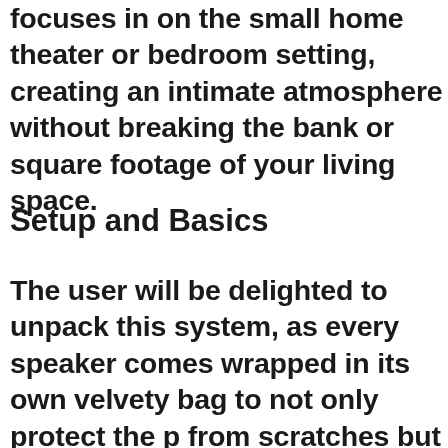focuses in on the small home theater or bedroom setting, creating an intimate atmosphere without breaking the bank or square footage of your living space.
Setup and Basics
The user will be delighted to unpack this system, as every speaker comes wrapped in its own velvety bag to not only protect the product from scratches but glamorize the owner's purchase. The 5.1 system consists of 4 two-way bookshelf speakers with a 4" woven fiber driver and a 1" silk dome tweeter. The center channel has two of the 4" drivers and one tweeter. The subwoofer has a Mo...